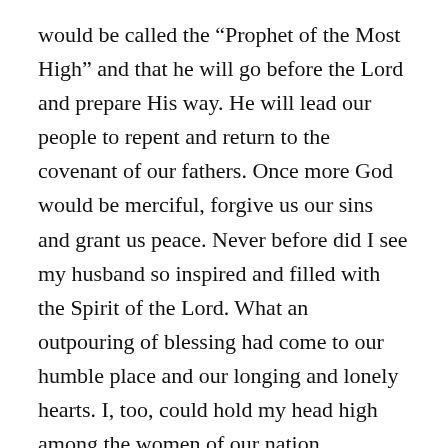would be called the “Prophet of the Most High” and that he will go before the Lord and prepare His way. He will lead our people to repent and return to the covenant of our fathers. Once more God would be merciful, forgive us our sins and grant us peace. Never before did I see my husband so inspired and filled with the Spirit of the Lord. What an outpouring of blessing had come to our humble place and our longing and lonely hearts. I, too, could hold my head high among the women of our nation.
I, too, became a mother. What I had yet to learn was that my son was not normal by our human standards. He did not mix with or fit in with the other children. He had a yearning for the outdoors. He began to steal away into